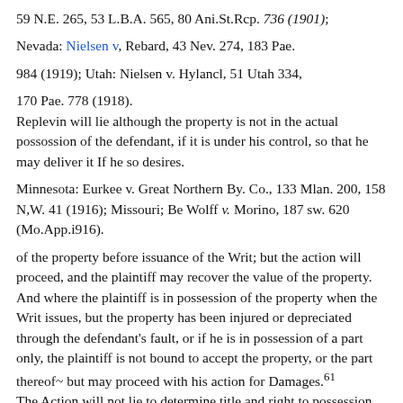59 N.E. 265, 53 L.B.A. 565, 80 Ani.St.Rcp. 736 (1901);
Nevada: Nielsen v, Rebard, 43 Nev. 274, 183 Pae.
984 (1919); Utah: Nielsen v. Hylancl, 51 Utah 334,
170 Pae. 778 (1918).
Replevin will lie although the property is not in the actual possossion of the defendant, if it is under his control, so that he may deliver it If he so desires.
Minnesota: Eurkee v. Great Northern By. Co., 133 Mlan. 200, 158 N,W. 41 (1916); Missouri; Be Wolff v. Morino, 187 sw. 620 (Mo.App.i916).
of the property before issuance of the Writ; but the action will proceed, and the plaintiff may recover the value of the property. And where the plaintiff is in possession of the property when the Writ issues, but the property has been injured or depreciated through the defendant's fault, or if he is in possession of a part only, the plaintiff is not bound to accept the property, or the part thereof~ but may proceed with his action for Damages.61
The Action will not lie to determine title and right to possession of property which is claimed by the defendant, but of which the plaintiff has never in actual the thereof.62